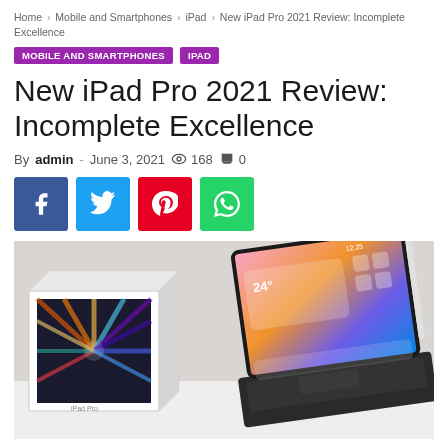Home > Mobile and Smartphones > iPad > New iPad Pro 2021 Review: Incomplete Excellence
MOBILE AND SMARTPHONES
IPAD
New iPad Pro 2021 Review: Incomplete Excellence
By admin - June 3, 2021  168  0
[Figure (photo): iPad Pro 2021 with box and Magic Keyboard on a white surface]
New iPad Pro 2021 Review: Incomplete Excellence